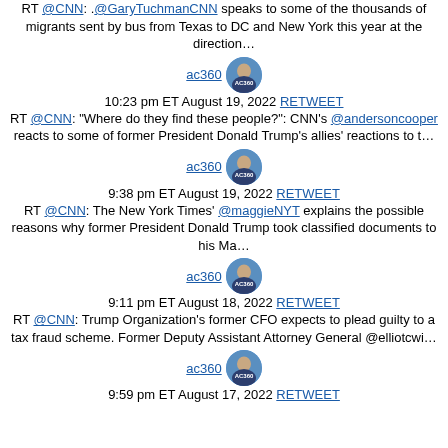RT @CNN: .@GaryTuchmanCNN speaks to some of the thousands of migrants sent by bus from Texas to DC and New York this year at the direction…
[Figure (photo): ac360 Twitter profile avatar - circular photo of Anderson Cooper]
10:23 pm ET August 19, 2022 RETWEET RT @CNN: "Where do they find these people?": CNN's @andersoncooper reacts to some of former President Donald Trump's allies' reactions to t…
[Figure (photo): ac360 Twitter profile avatar - circular photo of Anderson Cooper]
9:38 pm ET August 19, 2022 RETWEET RT @CNN: The New York Times' @maggieNYT explains the possible reasons why former President Donald Trump took classified documents to his Ma…
[Figure (photo): ac360 Twitter profile avatar - circular photo of Anderson Cooper]
9:11 pm ET August 18, 2022 RETWEET RT @CNN: Trump Organization's former CFO expects to plead guilty to a tax fraud scheme. Former Deputy Assistant Attorney General @elliotcwi…
[Figure (photo): ac360 Twitter profile avatar - circular photo of Anderson Cooper]
9:59 pm ET August 17, 2022 RETWEET